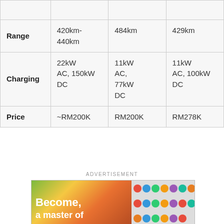|  | Col1 | Col2 | Col3 |
| --- | --- | --- | --- |
| Range | 420km-440km | 484km | 429km |
| Charging | 22kW AC, 150kW DC | 11kW AC, 77kW DC | 11kW AC, 100kW DC |
| Price | ~RM200K | RM200K | RM278K |
ADVERTISEMENT
[Figure (photo): Advertisement banner showing 'Become, a master of...' text over colorful background with emoji grid on the right side]